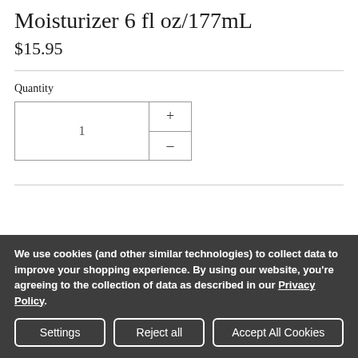Moisturizer 6 fl oz/177mL
$15.95
Quantity
1
We use cookies (and other similar technologies) to collect data to improve your shopping experience. By using our website, you're agreeing to the collection of data as described in our Privacy Policy.
Settings | Reject all | Accept All Cookies